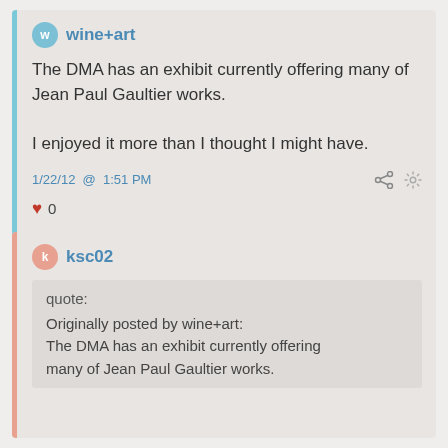wine+art
The DMA has an exhibit currently offering many of Jean Paul Gaultier works.

I enjoyed it more than I thought I might have.
1/22/12 @ 1:51 PM
0
ksc02
quote:
Originally posted by wine+art:
The DMA has an exhibit currently offering many of Jean Paul Gaultier works.